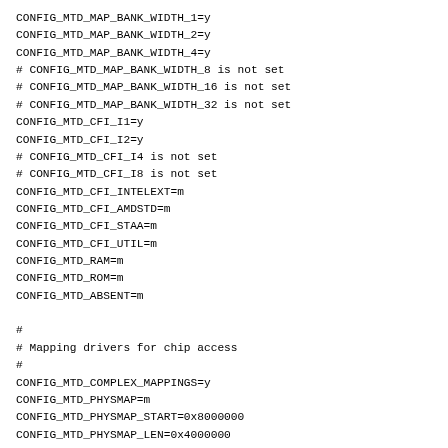CONFIG_MTD_MAP_BANK_WIDTH_1=y
CONFIG_MTD_MAP_BANK_WIDTH_2=y
CONFIG_MTD_MAP_BANK_WIDTH_4=y
# CONFIG_MTD_MAP_BANK_WIDTH_8 is not set
# CONFIG_MTD_MAP_BANK_WIDTH_16 is not set
# CONFIG_MTD_MAP_BANK_WIDTH_32 is not set
CONFIG_MTD_CFI_I1=y
CONFIG_MTD_CFI_I2=y
# CONFIG_MTD_CFI_I4 is not set
# CONFIG_MTD_CFI_I8 is not set
CONFIG_MTD_CFI_INTELEXT=m
CONFIG_MTD_CFI_AMDSTD=m
CONFIG_MTD_CFI_STAA=m
CONFIG_MTD_CFI_UTIL=m
CONFIG_MTD_RAM=m
CONFIG_MTD_ROM=m
CONFIG_MTD_ABSENT=m

#
# Mapping drivers for chip access
#
CONFIG_MTD_COMPLEX_MAPPINGS=y
CONFIG_MTD_PHYSMAP=m
CONFIG_MTD_PHYSMAP_START=0x8000000
CONFIG_MTD_PHYSMAP_LEN=0x4000000
CONFIG_MTD_PHYSMAP_BANKWIDTH=2
CONFIG_MTD_SC520CDP=m
CONFIG_MTD_NETSC520=m
CONFIG_MTD_TS5500=m
CONFIG_MTD_SBC_GXX=m